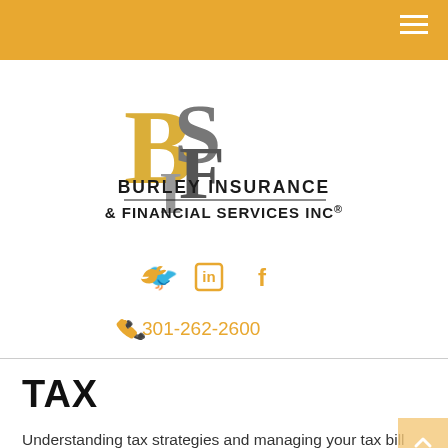[Figure (logo): Burley Insurance & Financial Services Inc logo with stylized BFS letters in gold and gray, company name in dark text below]
[Figure (infographic): Social media icons: Twitter bird, LinkedIn 'in', Facebook 'f' in orange/gold color]
301-262-2600
TAX
Understanding tax strategies and managing your tax bill should be part of any sound financial approach. Some taxes can be deferred, and others can be managed